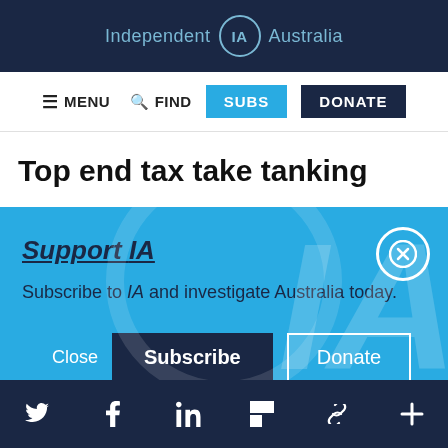Independent IA Australia
MENU  FIND  SUBS  DONATE
Top end tax take tanking
Support IA
Subscribe to IA and investigate Australia today.
Close  Subscribe  Donate
Social icons: Twitter, Facebook, LinkedIn, Flipboard, Link, Plus